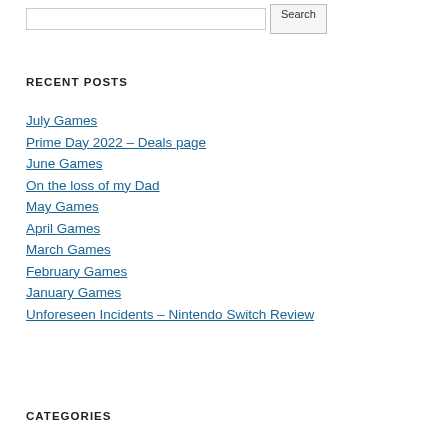RECENT POSTS
July Games
Prime Day 2022 – Deals page
June Games
On the loss of my Dad
May Games
April Games
March Games
February Games
January Games
Unforeseen Incidents – Nintendo Switch Review
CATEGORIES